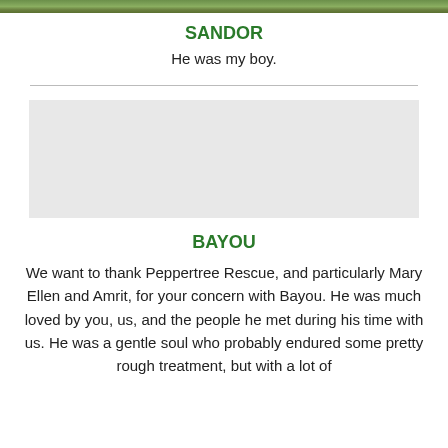[Figure (photo): Partial top photo strip showing greenery/outdoor scene]
SANDOR
He was my boy.
[Figure (photo): Photo placeholder area for second animal (Bayou)]
BAYOU
We want to thank Peppertree Rescue, and particularly Mary Ellen and Amrit, for your concern with Bayou. He was much loved by you, us, and the people he met during his time with us. He was a gentle soul who probably endured some pretty rough treatment, but with a lot of